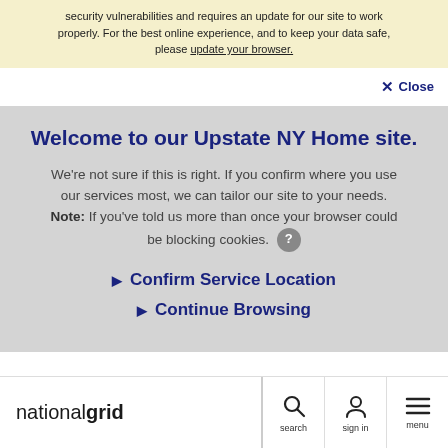security vulnerabilities and requires an update for our site to work properly. For the best online experience, and to keep your data safe, please update your browser.
Close
Welcome to our Upstate NY Home site.
We're not sure if this is right. If you confirm where you use our services most, we can tailor our site to your needs. Note: If you've told us more than once your browser could be blocking cookies.
Confirm Service Location
Continue Browsing
nationalgrid  search  sign in  menu